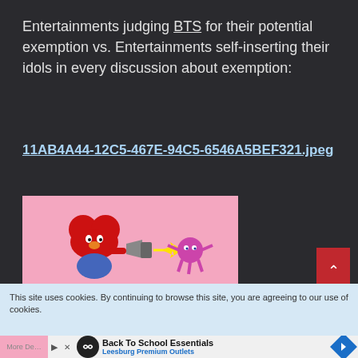Entertainments judging BTS for their potential exemption vs. Entertainments self-inserting their idols in every discussion about exemption:
11AB4A44-12C5-467E-94C5-6546A5BEF321.jpeg
[Figure (illustration): A cartoon image on a pink background showing two BT21 characters: a red heart-shaped character (TATA) holding a megaphone shooting a beam at a pink octopus-like character surrounded by a yellow starburst.]
This site uses cookies. By continuing to browse this site, you are agreeing to our use of cookies.
Back To School Essentials Leesburg Premium Outlets